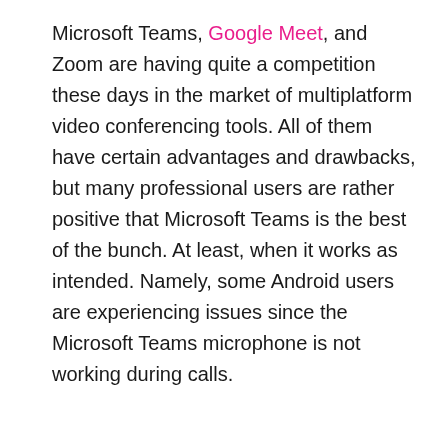Microsoft Teams, Google Meet, and Zoom are having quite a competition these days in the market of multiplatform video conferencing tools. All of them have certain advantages and drawbacks, but many professional users are rather positive that Microsoft Teams is the best of the bunch. At least, when it works as intended. Namely, some Android users are experiencing issues since the Microsoft Teams microphone is not working during calls.